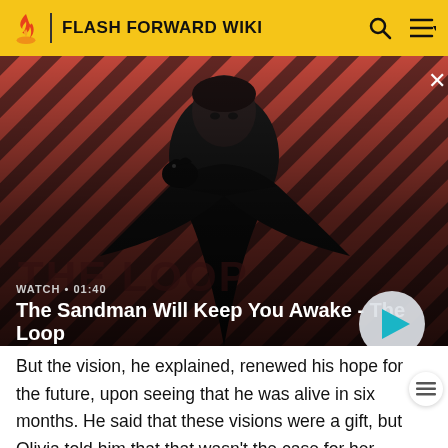FLASH FORWARD WIKI
[Figure (screenshot): Video thumbnail showing a dark figure with a raven on his shoulder against a red and black striped background. Overlay shows 'WATCH • 01:40' and title 'The Sandman Will Keep You Awake - The Loop' with a play button.]
But the vision, he explained, renewed his hope for the future, upon seeing that he was alive in six months. He said that these visions were a gift, but Olivia told him that that wasn't the case for her. Bryce asked what she saw and she replied, "The end of my marriage."